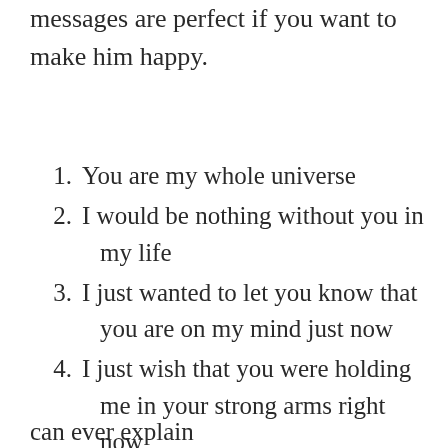messages are perfect if you want to make him happy.
1. You are my whole universe
2. I would be nothing without you in my life
3. I just wanted to let you know that you are on my mind just now
4. I just wish that you were holding me in your strong arms right now
5. I love you so much more than I can ever explain